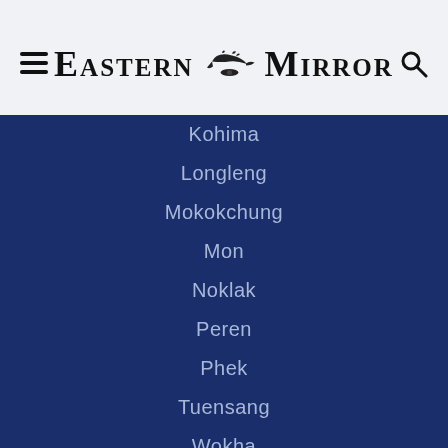Eastern Mirror
Kohima
Longleng
Mokokchung
Mon
Noklak
Peren
Phek
Tuensang
Wokha
Zunheboto
LIVING AND ENTERTAINMENT
Health